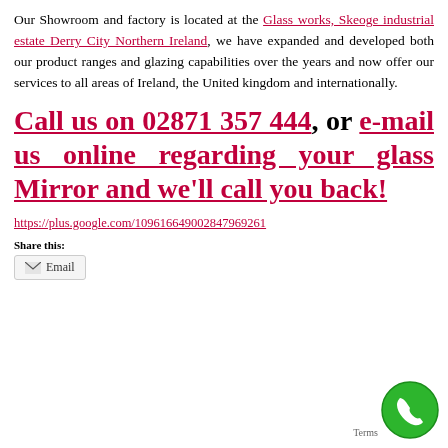Our Showroom and factory is located at the Glass works, Skeoge industrial estate Derry City Northern Ireland, we have expanded and developed both our product ranges and glazing capabilities over the years and now offer our services to all areas of Ireland, the United kingdom and internationally.
Call us on 02871 357 444, or e-mail us online regarding your glass Mirror and we'll call you back!
https://plus.google.com/109616649002847969261
Share this:
Email
[Figure (other): Green circular phone/call badge icon in bottom right corner with a white phone handset symbol]